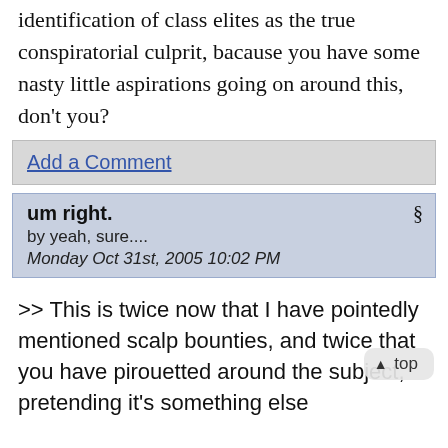identification of class elites as the true conspiratorial culprit, bacause you have some nasty little aspirations going on around this, don't you?
Add a Comment
um right.
by yeah, sure....
Monday Oct 31st, 2005 10:02 PM
>> This is twice now that I have pointedly mentioned scalp bounties, and twice that you have pirouetted around the subject, pretending it's something else